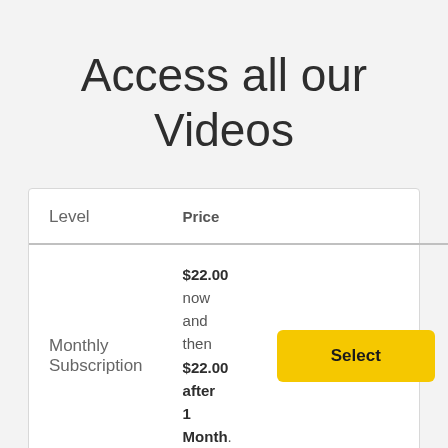Access all our Videos
| Level | Price |  |
| --- | --- | --- |
| Monthly Subscription | $22.00 now and then $22.00 after 1 Month. | Select |
| Yearly | $220.00 now and then | Select |